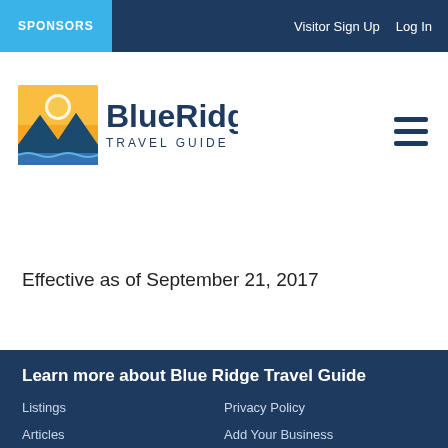SPONSORS   Visitor Sign Up   Log In
[Figure (logo): Blue Ridge Travel Guide logo with mountain/sun graphic]
Effective as of September 21, 2017
Learn more about Blue Ridge Travel Guide
Listings
Privacy Policy
Articles
Add Your Business
Blog
Add Your Event
About Us
Business Login